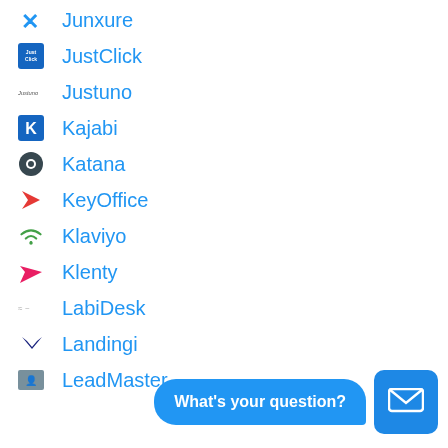Junxure
JustClick
Justuno
Kajabi
Katana
KeyOffice
Klaviyo
Klenty
LabiDesk
Landingi
LeadMaster
[Figure (other): Chat widget with 'What's your question?' bubble and email icon button]